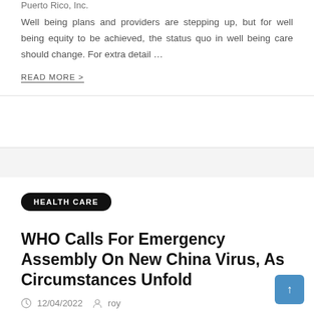Puerto Rico, Inc.
Well being plans and providers are stepping up, but for well being equity to be achieved, the status quo in well being care should change. For extra detail …
READ MORE >
HEALTH CARE
WHO Calls For Emergency Assembly On New China Virus, As Circumstances Unfold
12/04/2022  roy
Over the previous few months, the proposed healthcare reform has been the topic of much dialogue and the